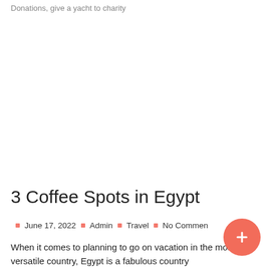Donations, give a yacht to charity
3 Coffee Spots in Egypt
June 17, 2022  |  Admin  |  Travel  |  No Comments
When it comes to planning to go on vacation in the most versatile country, Egypt is a fabulous country